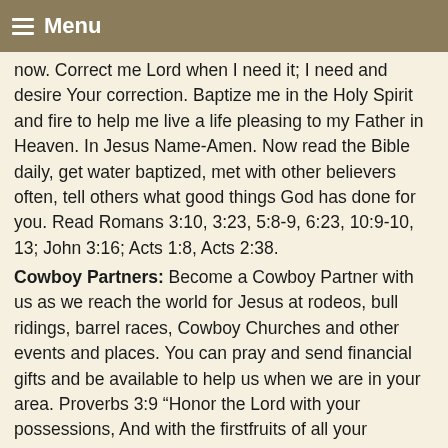Menu
now. Correct me Lord when I need it; I need and desire Your correction. Baptize me in the Holy Spirit and fire to help me live a life pleasing to my Father in Heaven. In Jesus Name-Amen. Now read the Bible daily, get water baptized, met with other believers often, tell others what good things God has done for you. Read Romans 3:10, 3:23, 5:8-9, 6:23, 10:9-10, 13; John 3:16; Acts 1:8, Acts 2:38.
Cowboy Partners: Become a Cowboy Partner with us as we reach the world for Jesus at rodeos, bull ridings, barrel races, Cowboy Churches and other events and places. You can pray and send financial gifts and be available to help us when we are in your area. Proverbs 3:9 “Honor the Lord with your possessions, And with the firstfruits of all your increase;(10) So your barns will be filled with plenty, And your vats will overflow with new wine.”
Service: What about your group? Is there anything that we can do for you? Let us know.
Your Cowboy Partner and Friend